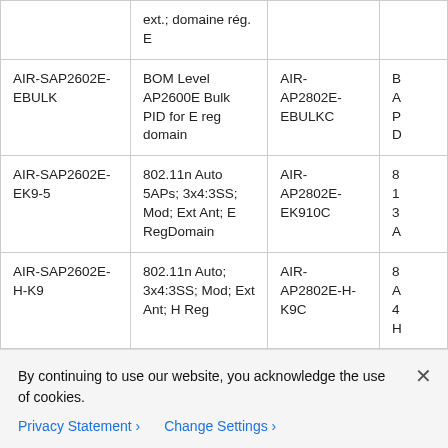|  |  |  |  |
| --- | --- | --- | --- |
|  | ext.; domaine rég. E |  |  |
| AIR-SAP2602E-EBULK | BOM Level AP2600E Bulk PID for E reg domain | AIR-AP2802E-EBULKC | B A P D |
| AIR-SAP2602E-EK9-5 | 802.11n Auto 5APs; 3x4:3SS; Mod; Ext Ant; E RegDomain | AIR-AP2802E-EK910C | 8 1 3 A |
| AIR-SAP2602E-H-K9 | 802.11n Auto; 3x4:3SS; Mod; Ext Ant; H Reg | AIR-AP2802E-H-K9C | 8 A 4 H |
By continuing to use our website, you acknowledge the use of cookies.
Privacy Statement › Change Settings ›